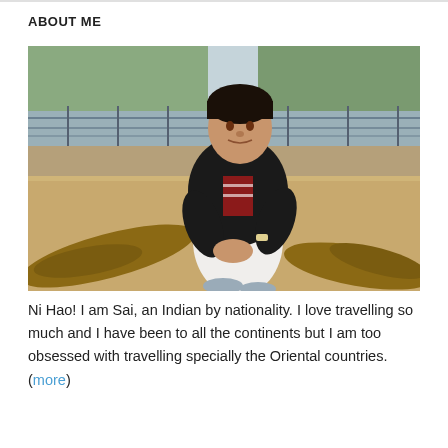ABOUT ME
[Figure (photo): A young Indian man sitting on a sandy ground with driftwood, wearing a black blazer over a red striped shirt and white pants with sneakers. Blurred outdoor background with a fence and greenery.]
Ni Hao! I am Sai, an Indian by nationality. I love travelling so much and I have been to all the continents but I am too obsessed with travelling specially the Oriental countries.(more)